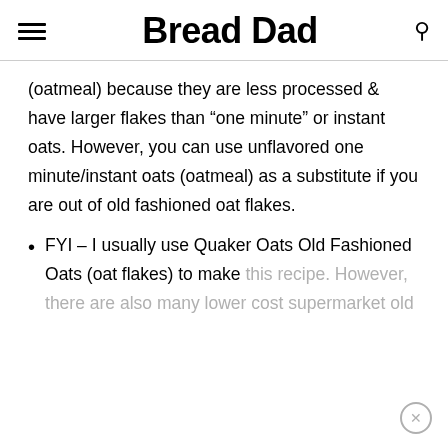Bread Dad
(oatmeal) because they are less processed & have larger flakes than “one minute” or instant oats. However, you can use unflavored one minute/instant oats (oatmeal) as a substitute if you are out of old fashioned oat flakes.
FYI – I usually use Quaker Oats Old Fashioned Oats (oat flakes) to make this recipe. However, there are also many lower cost supermarket old